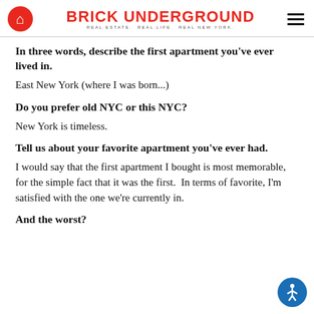BRICK UNDERGROUND — REAL ESTATE. REAL LIFE. REAL NEW YORK.
In three words, describe the first apartment you've ever lived in.
East New York (where I was born...)
Do you prefer old NYC or this NYC?
New York is timeless.
Tell us about your favorite apartment you've ever had.
I would say that the first apartment I bought is most memorable, for the simple fact that it was the first.  In terms of favorite, I'm satisfied with the one we're currently in.
And the worst?